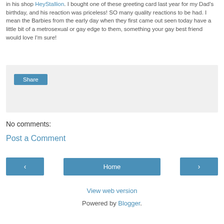in his shop HeyStallion. I bought one of these greeting card last year for my Dad's birthday, and his reaction was priceless! SO many quality reactions to be had. I mean the Barbies from the early day when they first came out seen today have a little bit of a metrosexual or gay edge to them, something your gay best friend would love I'm sure!
[Figure (other): Share button widget area with light gray background and a blue Share button]
No comments:
Post a Comment
[Figure (other): Navigation bar with left arrow button, Home button, and right arrow button]
View web version
Powered by Blogger.